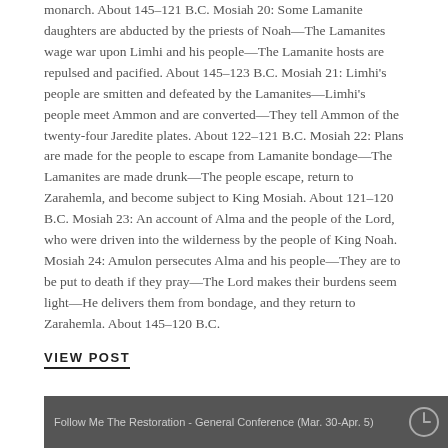monarch. About 145–121 B.C. Mosiah 20: Some Lamanite daughters are abducted by the priests of Noah—The Lamanites wage war upon Limhi and his people—The Lamanite hosts are repulsed and pacified. About 145–123 B.C. Mosiah 21: Limhi's people are smitten and defeated by the Lamanites—Limhi's people meet Ammon and are converted—They tell Ammon of the twenty-four Jaredite plates. About 122–121 B.C. Mosiah 22: Plans are made for the people to escape from Lamanite bondage—The Lamanites are made drunk—The people escape, return to Zarahemla, and become subject to King Mosiah. About 121–120 B.C. Mosiah 23: An account of Alma and the people of the Lord, who were driven into the wilderness by the people of King Noah. Mosiah 24: Amulon persecutes Alma and his people—They are to be put to death if they pray—The Lord makes their burdens seem light—He delivers them from bondage, and they return to Zarahemla. About 145–120 B.C.
VIEW POST
[Figure (screenshot): Screenshot strip showing a video thumbnail with text 'Follow Me The Restoration - General Conference (Mar. 30-Apr. 5)' and a clock icon on the right side.]